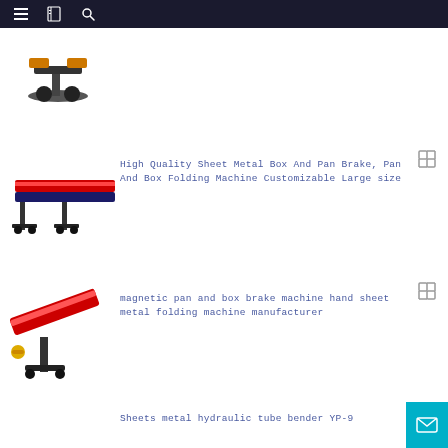Navigation header with menu, bookmark, and search icons
[Figure (photo): Pan and box brake machine product thumbnail (partially visible at top)]
[Figure (photo): High Quality Sheet Metal Box And Pan Brake machine product image]
High Quality Sheet Metal Box And Pan Brake, Pan And Box Folding Machine Customizable Large size
[Figure (photo): Magnetic pan and box brake machine product image with red folding arm]
magnetic pan and box brake machine hand sheet metal folding machine manufacturer
[Figure (photo): 650E/1000E/1250E/2500E/3200E Pneumatic Electromagnetic Sheet Plate Bending Folding machine product image]
650E/1000E/1250E/2500E/3200E Pneumatic Electromagnetic Sheet Plate Bending Folding
Sheets metal hydraulic tube bender YP-9